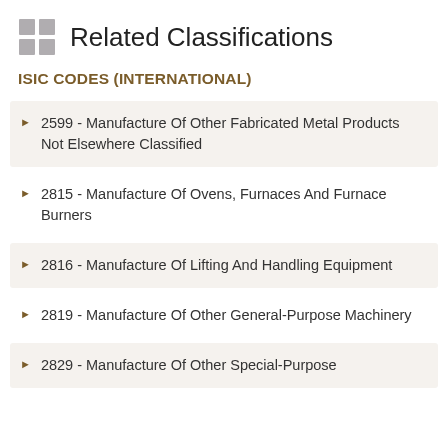Related Classifications
ISIC CODES (INTERNATIONAL)
2599 - Manufacture Of Other Fabricated Metal Products Not Elsewhere Classified
2815 - Manufacture Of Ovens, Furnaces And Furnace Burners
2816 - Manufacture Of Lifting And Handling Equipment
2819 - Manufacture Of Other General-Purpose Machinery
2829 - Manufacture Of Other Special-Purpose